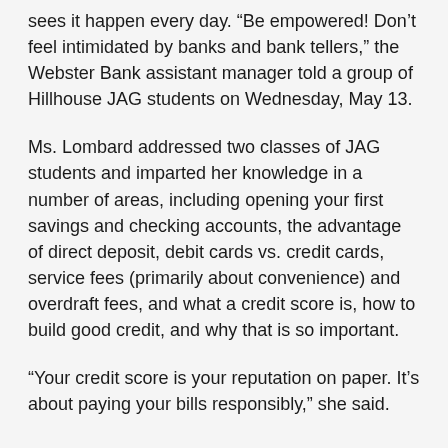sees it happen every day. “Be empowered! Don’t feel intimidated by banks and bank tellers,” the Webster Bank assistant manager told a group of Hillhouse JAG students on Wednesday, May 13.
Ms. Lombard addressed two classes of JAG students and imparted her knowledge in a number of areas, including opening your first savings and checking accounts, the advantage of direct deposit, debit cards vs. credit cards, service fees (primarily about convenience) and overdraft fees, and what a credit score is, how to build good credit, and why that is so important.
“Your credit score is your reputation on paper. It’s about paying your bills responsibly,” she said.